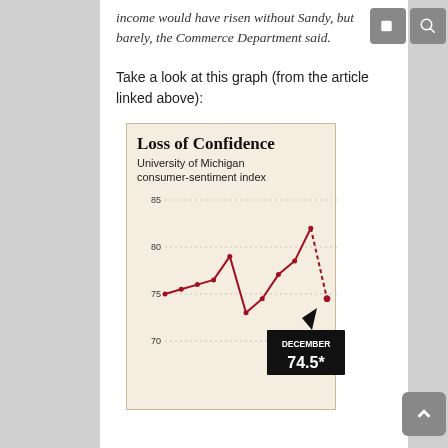income would have risen without Sandy, but barely, the Commerce Department said.
Take a look at this graph (from the article linked above):
[Figure (line-chart): Line chart showing University of Michigan consumer-sentiment index, ending with a sharp drop in December to 74.5*. The final dashed segment shows the drop from a peak near 82 to 74.5.]